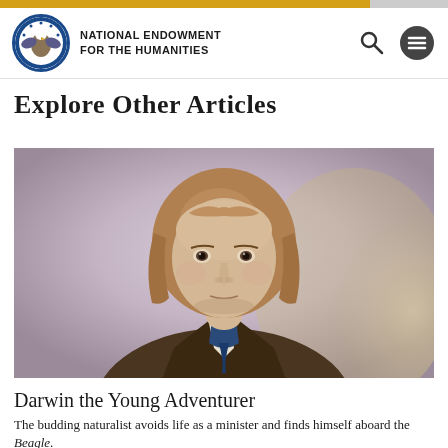NATIONAL ENDOWMENT FOR THE HUMANITIES
Explore Other Articles
[Figure (photo): Portrait painting of a young Charles Darwin with light brown hair, wearing a dark coat and blue cravat, painted in an impressionistic style with soft lavender and cream background tones.]
Darwin the Young Adventurer
The budding naturalist avoids life as a minister and finds himself aboard the Beagle.